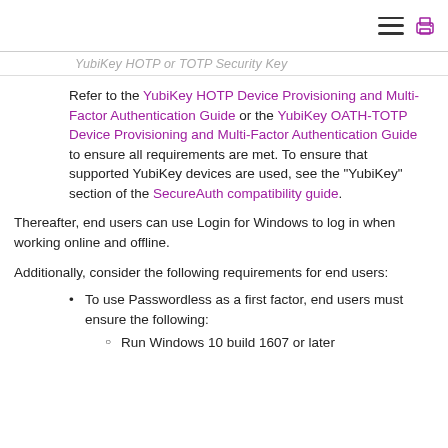YubiKey HOTP or TOTP Security Key
Refer to the YubiKey HOTP Device Provisioning and Multi-Factor Authentication Guide or the YubiKey OATH-TOTP Device Provisioning and Multi-Factor Authentication Guide to ensure all requirements are met. To ensure that supported YubiKey devices are used, see the "YubiKey" section of the SecureAuth compatibility guide.
Thereafter, end users can use Login for Windows to log in when working online and offline.
Additionally, consider the following requirements for end users:
To use Passwordless as a first factor, end users must ensure the following:
Run Windows 10 build 1607 or later